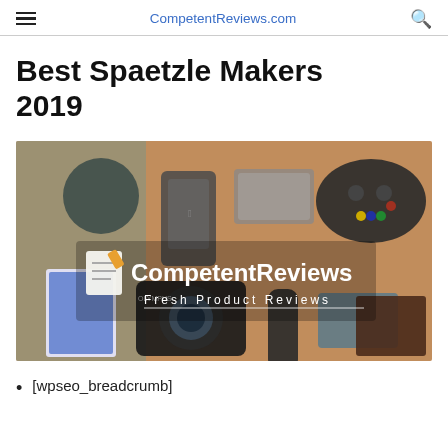CompetentReviews.com
Best Spaetzle Makers 2019
[Figure (photo): CompetentReviews banner image showing various consumer products on a wooden surface including a smartphone, game controller, camera, speaker, playing cards, and remote, overlaid with the CompetentReviews logo and text 'Fresh Product Reviews']
[wpseo_breadcrumb]